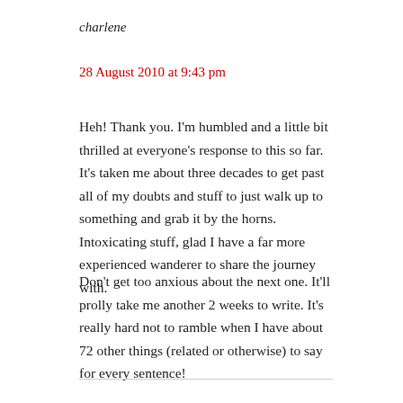charlene
28 August 2010 at 9:43 pm
Heh! Thank you. I'm humbled and a little bit thrilled at everyone's response to this so far. It's taken me about three decades to get past all of my doubts and stuff to just walk up to something and grab it by the horns. Intoxicating stuff, glad I have a far more experienced wanderer to share the journey with.
Don't get too anxious about the next one. It'll prolly take me another 2 weeks to write. It's really hard not to ramble when I have about 72 other things (related or otherwise) to say for every sentence!